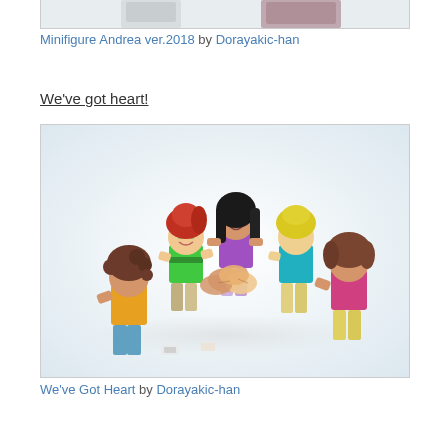[Figure (photo): Partial view of a LEGO minifigure (Minifigure Andrea ver.2018) against a light background, cropped at the top of the page]
Minifigure Andrea ver.2018 by Dorayakic-han
We've got heart!
[Figure (photo): Five LEGO Friends minifigures arranged in a circle doing a group fist bump, photographed from above on a white background. Figures have various hair colors: curly brown, red, black, blonde, and brown wavy.]
We&#x27;ve Got Heart by Dorayakic-han